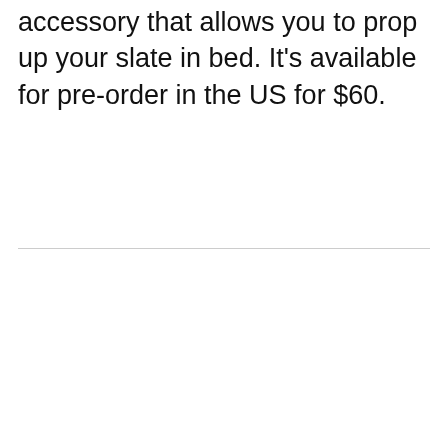accessory that allows you to prop up your slate in bed. It's available for pre-order in the US for $60.